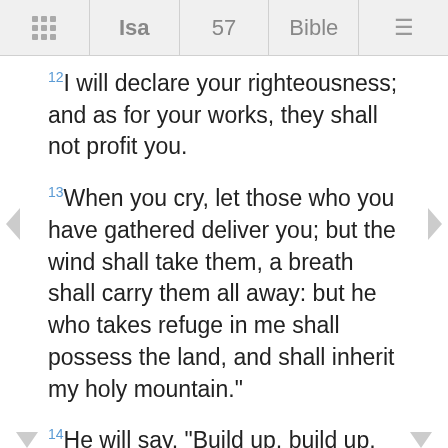Isa  57  Bible
12I will declare your righteousness; and as for your works, they shall not profit you.
13When you cry, let those who you have gathered deliver you; but the wind shall take them, a breath shall carry them all away: but he who takes refuge in me shall possess the land, and shall inherit my holy mountain."
14He will say, "Build up, build up, prepare the way, take up the stumbling-block out of the way of my people."
15For thus says the high and lofty One who inhabits eternity, whose name is Holy: "I dwell in the high and holy place, with him also who is of a contrite and humble spirit, to revive the spirit of the humble, and to revive the heart of the contrite.